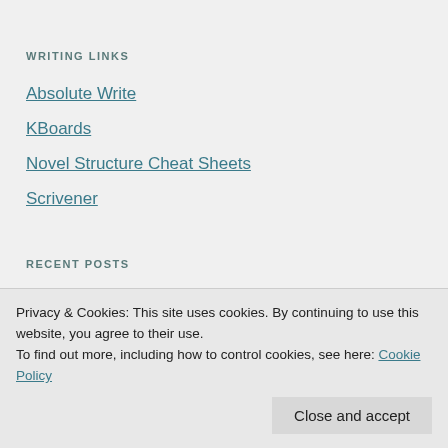WRITING LINKS
Absolute Write
KBoards
Novel Structure Cheat Sheets
Scrivener
RECENT POSTS
Auran Chronicles #3 – 1st draft done!
Privacy & Cookies: This site uses cookies. By continuing to use this website, you agree to their use.
To find out more, including how to control cookies, see here: Cookie Policy
Close and accept